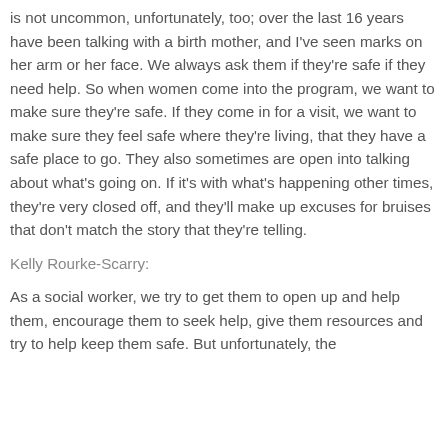is not uncommon, unfortunately, too; over the last 16 years have been talking with a birth mother, and I've seen marks on her arm or her face. We always ask them if they're safe if they need help. So when women come into the program, we want to make sure they're safe. If they come in for a visit, we want to make sure they feel safe where they're living, that they have a safe place to go. They also sometimes are open into talking about what's going on. If it's with what's happening other times, they're very closed off, and they'll make up excuses for bruises that don't match the story that they're telling.
Kelly Rourke-Scarry:
As a social worker, we try to get them to open up and help them, encourage them to seek help, give them resources and try to help keep them safe. But unfortunately, the majority of them won't seek help on their own, so if someone